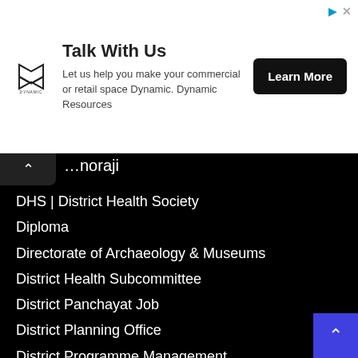[Figure (other): Advertisement banner for Dynamic Resources. Logo on left, 'Talk With Us' text, subtitle 'Let us help you make your commercial or retail space Dynamic. Dynamic Resources', and a 'Learn More' black button on right.]
…noraji
DHS | District Health Society
Diploma
Directorate of Archaeology & Museums
District Health Subcommittee
District Panchayat Job
District Planning Office
District Programme Management
Diu
Divisional Railway Hospital
DJMIT
DMC